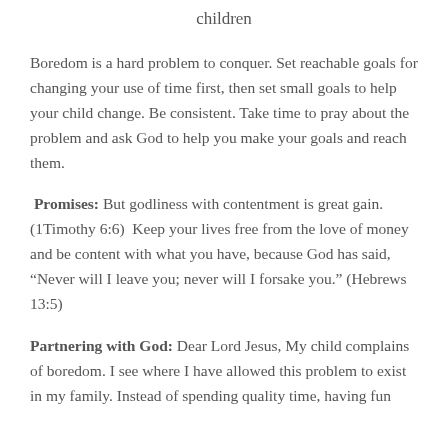children
Boredom is a hard problem to conquer. Set reachable goals for changing your use of time first, then set small goals to help your child change. Be consistent. Take time to pray about the problem and ask God to help you make your goals and reach them.
Promises: But godliness with contentment is great gain. (1Timothy 6:6) Keep your lives free from the love of money and be content with what you have, because God has said, “Never will I leave you; never will I forsake you.” (Hebrews 13:5)
Partnering with God: Dear Lord Jesus, My child complains of boredom. I see where I have allowed this problem to exist in my family. Instead of spending quality time, having fun